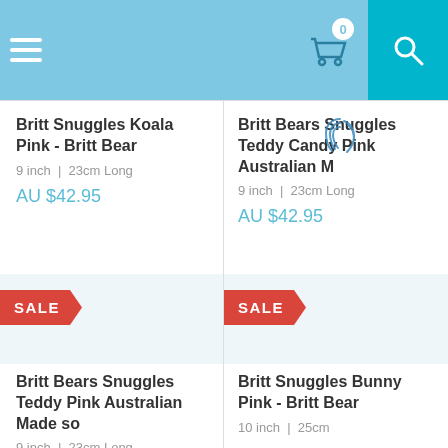Navigation header with hamburger menu, cart (0), and search icon
Britt Snuggles Koala Pink - Britt Bear
9 inch | 23cm Long
AU $42.95
Britt Bears Snuggles Teddy Candy Pink Australian M
9 inch | 23cm Long
AU $42.95
SALE
Britt Bears Snuggles Teddy Pink Australian Made so
9 inch | 23cm Long
SALE
Britt Snuggles Bunny Pink - Britt Bear
10 inch | 25cm